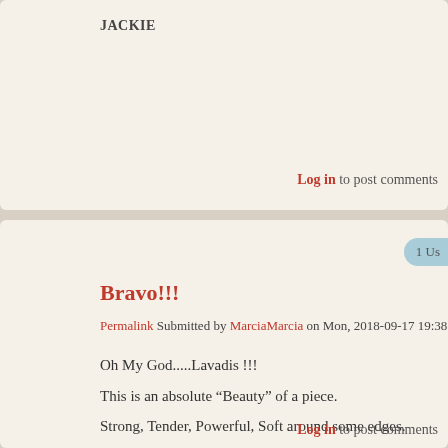JACKIE
Log in to post comments
Bravo!!!
Permalink Submitted by MarciaMarcia on Mon, 2018-09-17 19:38
Oh My God.....Lavadis !!!

This is an absolute “Beauty” of a piece.

Strong, Tender, Powerful, Soft around some edges.

Full with light and color and electricity.

I’m in Awe.........!!!      MarciaMarcia
Log in to post comments